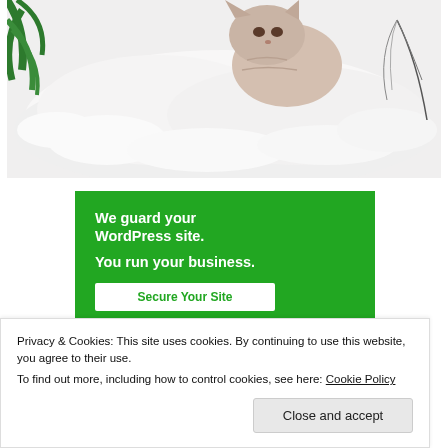[Figure (photo): A white fluffy rug with a sphinx cat resting on it, with green plant leaves visible on the left side and a black-and-white feather on the right.]
[Figure (infographic): Green banner advertisement reading 'We guard your WordPress site. You run your business.' with a white 'Secure Your Site' button.]
Privacy & Cookies: This site uses cookies. By continuing to use this website, you agree to their use. To find out more, including how to control cookies, see here: Cookie Policy
Close and accept